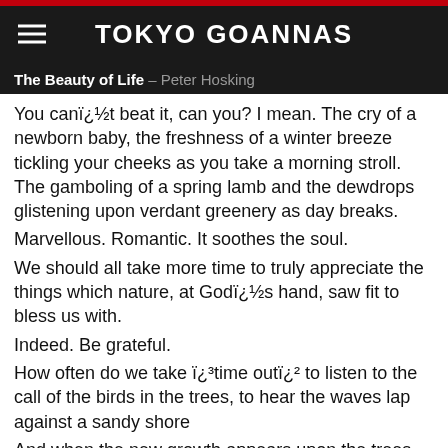TOKYO GOANNAS
The Beauty of Life – Peter Hosking
You canï¿½t beat it, can you? I mean. The cry of a newborn baby, the freshness of a winter breeze tickling your cheeks as you take a morning stroll. The gamboling of a spring lamb and the dewdrops glistening upon verdant greenery as day breaks.
Marvellous. Romantic. It soothes the soul.
We should all take more time to truly appreciate the things which nature, at Godï¿½s hand, saw fit to bless us with.
Indeed. Be grateful.
How often do we take ï¿³time outï¿² to listen to the call of the birds in the trees, to hear the waves lap against a sandy shore
And when the new growth appears upon the trees, do we really appreciate it as we should?
You have never truly lived until you have enjoyed all of Godï¿½s creations in their true and unfettered beauty.